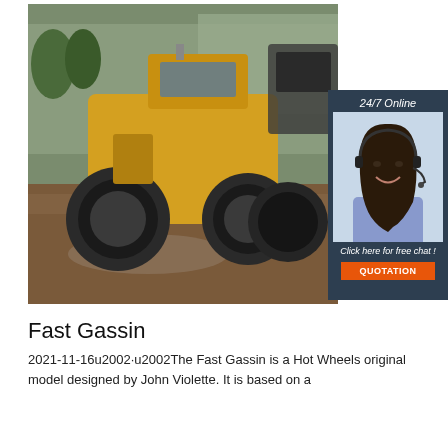[Figure (photo): A yellow road roller / pneumatic tire compactor photographed outdoors on a muddy surface with trees and buildings in background. Another dark-colored construction vehicle is visible in the background right.]
[Figure (photo): Sidebar widget with dark navy background showing '24/7 Online' text, a photo of a smiling woman with a headset (customer service representative), the text 'Click here for free chat!', and an orange QUOTATION button.]
Fast Gassin
2021-11-16u2002·u2002The Fast Gassin is a Hot Wheels original model designed by John Violette. It is based on a